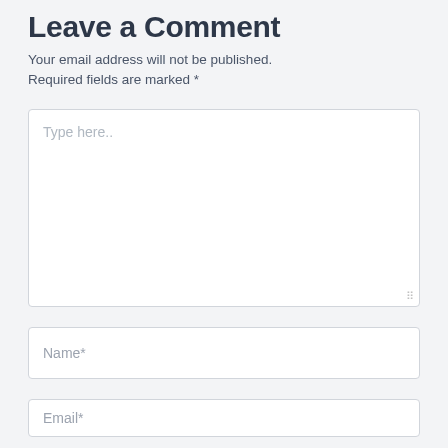Leave a Comment
Your email address will not be published. Required fields are marked *
[Figure (other): Large text input textarea with placeholder text 'Type here..' and a resize handle in the bottom-right corner]
[Figure (other): Single-line text input field with placeholder text 'Name*']
[Figure (other): Single-line text input field with placeholder text 'Email*', partially visible at bottom of page]